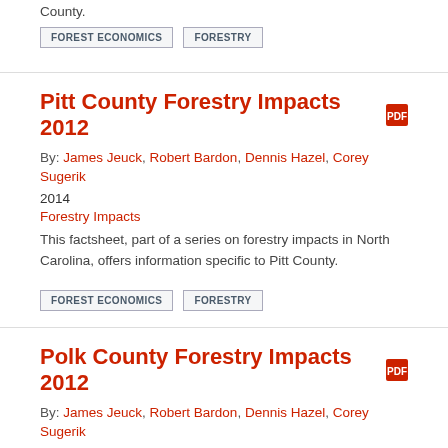County.
FOREST ECONOMICS
FORESTRY
Pitt County Forestry Impacts 2012
By: James Jeuck, Robert Bardon, Dennis Hazel, Corey Sugerik
2014
Forestry Impacts
This factsheet, part of a series on forestry impacts in North Carolina, offers information specific to Pitt County.
FOREST ECONOMICS
FORESTRY
Polk County Forestry Impacts 2012
By: James Jeuck, Robert Bardon, Dennis Hazel, Corey Sugerik
2014
Forestry Impacts
This factsheet, part of a series on forestry impacts in